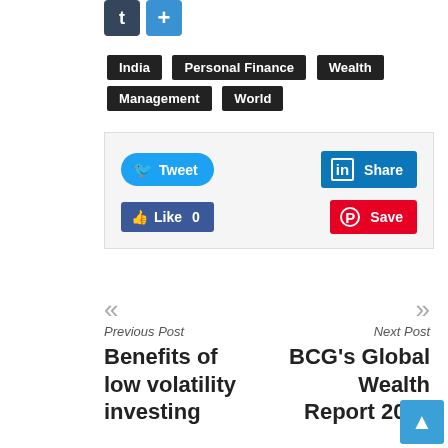[Figure (screenshot): Social sharing icons: Tumblr (dark) and Add (+) blue button]
India
Personal Finance
Wealth Management
World
[Figure (screenshot): Social sharing buttons: Tweet, LinkedIn Share, Pinterest Save, Facebook Like 0]
Previous Post
Benefits of low volatility investing
Next Post
BCG's Global Wealth Report 2018